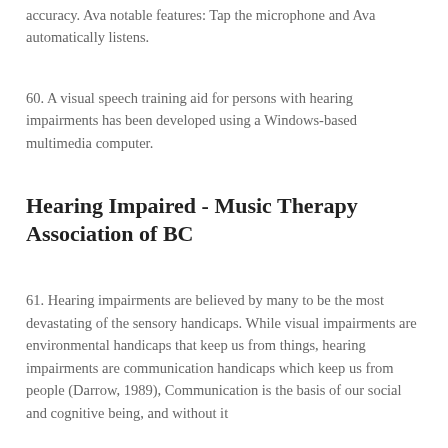accuracy. Ava notable features: Tap the microphone and Ava automatically listens.
60. A visual speech training aid for persons with hearing impairments has been developed using a Windows-based multimedia computer.
Hearing Impaired - Music Therapy Association of BC
61. Hearing impairments are believed by many to be the most devastating of the sensory handicaps. While visual impairments are environmental handicaps that keep us from things, hearing impairments are communication handicaps which keep us from people (Darrow, 1989), Communication is the basis of our social and cognitive being, and without it